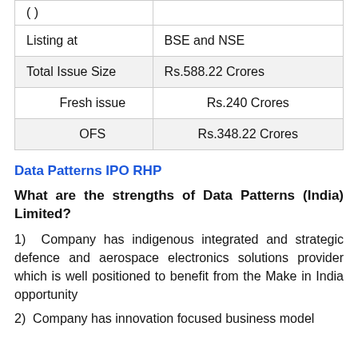| (   ) |  |
| Listing at | BSE and NSE |
| Total Issue Size | Rs.588.22 Crores |
| Fresh issue | Rs.240 Crores |
| OFS | Rs.348.22 Crores |
Data Patterns IPO RHP
What are the strengths of Data Patterns (India) Limited?
1)  Company has indigenous integrated and strategic defence and aerospace electronics solutions provider which is well positioned to benefit from the Make in India opportunity
2)  Company has innovation focused business model